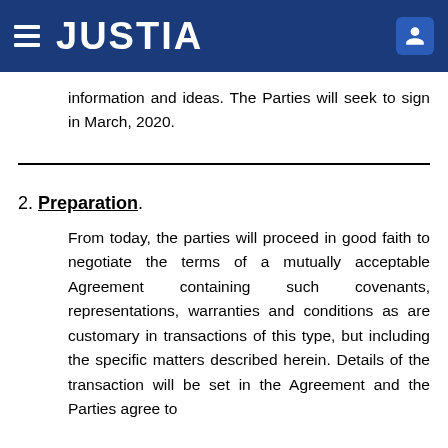JUSTIA
information and ideas. The Parties will seek to sign in March, 2020.
2. Preparation.
From today, the parties will proceed in good faith to negotiate the terms of a mutually acceptable Agreement containing such covenants, representations, warranties and conditions as are customary in transactions of this type, but including the specific matters described herein. Details of the transaction will be set in the Agreement and the Parties agree to